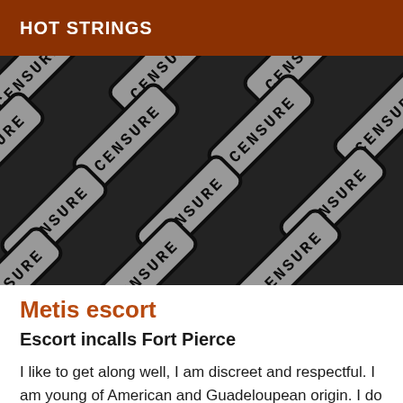HOT STRINGS
[Figure (photo): Close-up photo of multiple overlapping censure/censorship stamp tiles with rounded rectangles, grey background with bold black stencil-style text reading 'CENSURE' rotated at various angles, dark background.]
Metis escort
Escort incalls Fort Pierce
I like to get along well, I am discreet and respectful. I am young of American and Guadeloupean origin. I do not